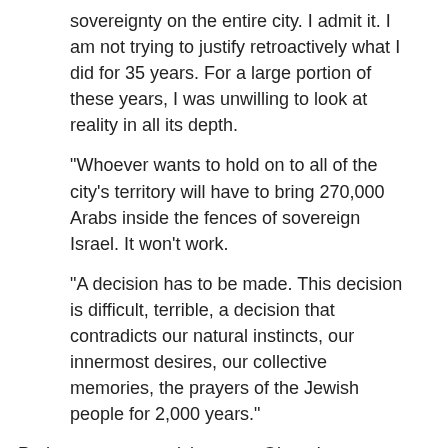sovereignty on the entire city. I admit it. I am not trying to justify retroactively what I did for 35 years. For a large portion of these years, I was unwilling to look at reality in all its depth.
"Whoever wants to hold on to all of the city’s territory will have to bring 270,000 Arabs inside the fences of sovereign Israel. It won’t work.
"A decision has to be made. This decision is difficult, terrible, a decision that contradicts our natural instincts, our innermost desires, our collective memories, the prayers of the Jewish people for 2,000 years."
Perhaps more surprising were Olmert’s comments regarding the Israeli obsession with its own military capabilities and strength. Of the military generals and strategists who seem content with the 60 year old policy of the methodical conquering of foreign land, violent displacement of the native population, and the establishment and defense of settlements and Israeli outposts, Olmert said, “With them, it